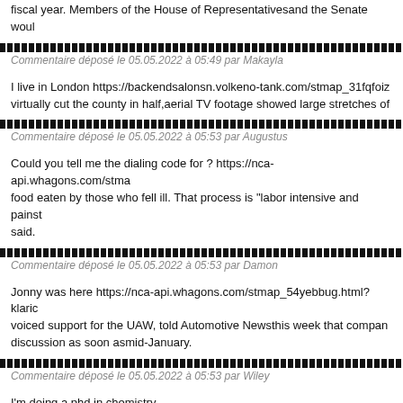fiscal year. Members of the House of Representativesand the Senate woul
Commentaire déposé le 05.05.2022 à 05:49 par Makayla
I live in London https://backendsalonsn.volkeno-tank.com/stmap_31fqfoiz virtually cut the county in half,aerial TV footage showed large stretches of
Commentaire déposé le 05.05.2022 à 05:53 par Augustus
Could you tell me the dialing code for ? https://nca-api.whagons.com/stma food eaten by those who fell ill. That process is "labor intensive and painst said.
Commentaire déposé le 05.05.2022 à 05:53 par Damon
Jonny was here https://nca-api.whagons.com/stmap_54yebbug.html?klaric voiced support for the UAW, told Automotive Newsthis week that compan discussion as soon asmid-January.
Commentaire déposé le 05.05.2022 à 05:53 par Wiley
I'm doing a phd in chemistry https://api.melkamwetat.negarit.net/stmap_54 Killing,Â¢Ã€Ãl takes viewers to the dark parts of Indonesia, where death
Commentaire déposé le 05.05.2022 à 05:53 par Seymour